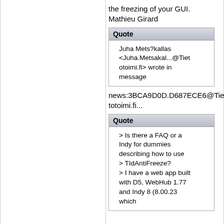the freezing of your GUI.
Mathieu Girard
Juha Mets?kallas <Juha.Metsakal...@Tietotoimi.fi> wrote in message
news:3BCA9D0D.D687ECE6@Tietotoimi.fi...
> Is there a FAQ or a Indy for dummies describing how to use > TIdAntiFreeze?
> I have a web app built with D5, WebHub 1.77 and Indy 8 (8.00.23 which